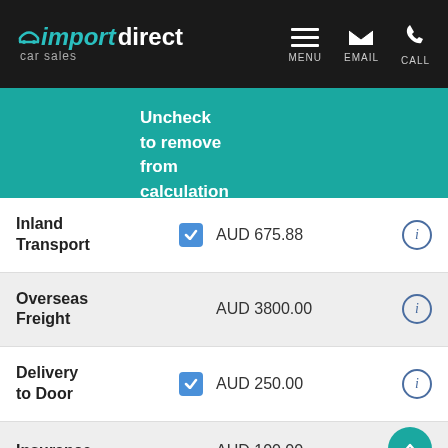import direct car sales — MENU EMAIL CALL
Uncheck to remove from calculation
|  | Uncheck to remove from calculation |  |
| --- | --- | --- |
| Inland Transport | ☑ | AUD 675.88 |
| Overseas Freight |  | AUD 3800.00 |
| Delivery to Door | ☑ | AUD 250.00 |
| Insurance |  | AUD 100.00 |
| Vehicle |  | AUD 50.00 |